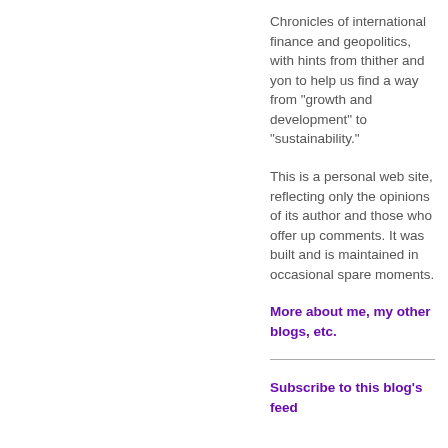Chronicles of international finance and geopolitics, with hints from thither and yon to help us find a way from "growth and development" to "sustainability."
This is a personal web site, reflecting only the opinions of its author and those who offer up comments. It was built and is maintained in occasional spare moments.
More about me, my other blogs, etc.
Subscribe to this blog's feed